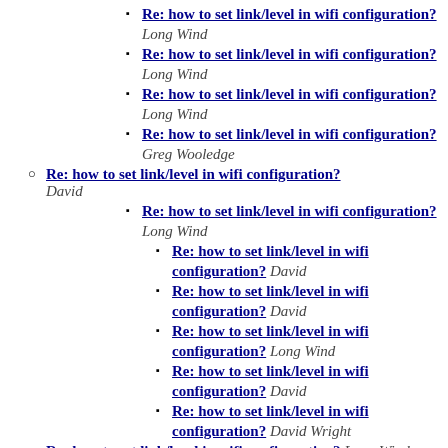Re: how to set link/level in wifi configuration? Long Wind
Re: how to set link/level in wifi configuration? Long Wind
Re: how to set link/level in wifi configuration? Long Wind
Re: how to set link/level in wifi configuration? Greg Wooledge
Re: how to set link/level in wifi configuration? David
Re: how to set link/level in wifi configuration? Long Wind
Re: how to set link/level in wifi configuration? David
Re: how to set link/level in wifi configuration? David
Re: how to set link/level in wifi configuration? Long Wind
Re: how to set link/level in wifi configuration? David
Re: how to set link/level in wifi configuration? David Wright
Re: how to set link/level in wifi configuration? Long Wind
Re: how to set link/level in wifi configuration?